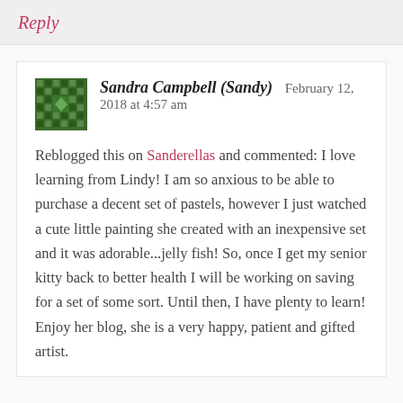Reply
Sandra Campbell (Sandy)   February 12, 2018 at 4:57 am
Reblogged this on Sanderellas and commented: I love learning from Lindy! I am so anxious to be able to purchase a decent set of pastels, however I just watched a cute little painting she created with an inexpensive set and it was adorable...jelly fish! So, once I get my senior kitty back to better health I will be working on saving for a set of some sort. Until then, I have plenty to learn! Enjoy her blog, she is a very happy, patient and gifted artist.